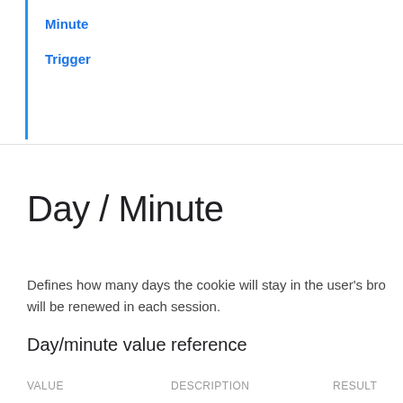Minute
Trigger
Day / Minute
Defines how many days the cookie will stay in the user's browser. It will be renewed in each session.
Day/minute value reference
| VALUE | DESCRIPTION | RESULT |
| --- | --- | --- |